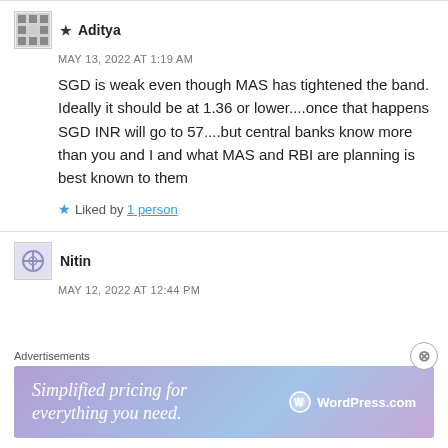★ Aditya
MAY 13, 2022 AT 1:19 AM
SGD is weak even though MAS has tightened the band. Ideally it should be at 1.36 or lower....once that happens SGD INR will go to 57....but central banks know more than you and I and what MAS and RBI are planning is best known to them
★ Liked by 1 person
Nitin
MAY 12, 2022 AT 12:44 PM
Advertisements
[Figure (screenshot): WordPress.com advertisement banner: 'Simplified pricing for everything you need.' with WordPress.com logo]